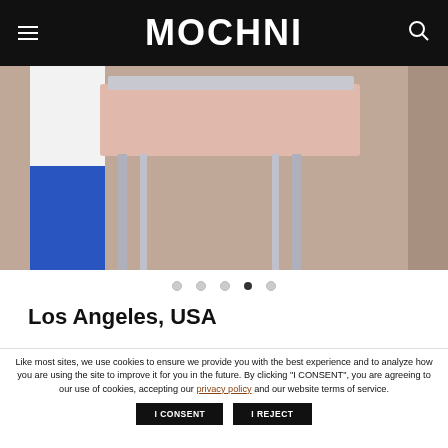MOCHNI
[Figure (photo): Photo of a person in white top and blue skirt/shorts near a chrome stool with pink seat, cropped view showing chair detail]
Los Angeles, USA
Like most sites, we use cookies to ensure we provide you with the best experience and to analyze how you are using the site to improve it for you in the future. By clicking "I CONSENT", you are agreeing to our use of cookies, accepting our privacy policy and our website terms of service.